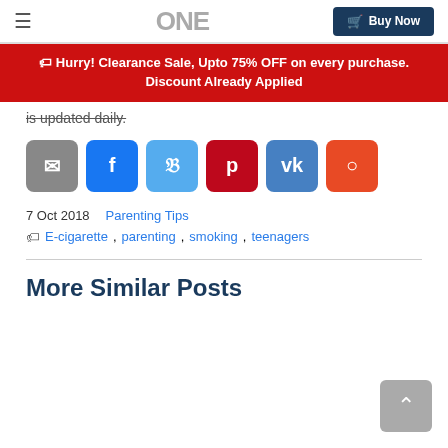ONE | Buy Now
Hurry! Clearance Sale, Upto 75% OFF on every purchase. Discount Already Applied
is updated daily.
[Figure (infographic): Social share buttons: email (grey), facebook (blue), twitter (light blue), pinterest (red), vk (blue), reddit (orange)]
7 Oct 2018    Parenting Tips
E-cigarette, parenting, smoking, teenagers
More Similar Posts